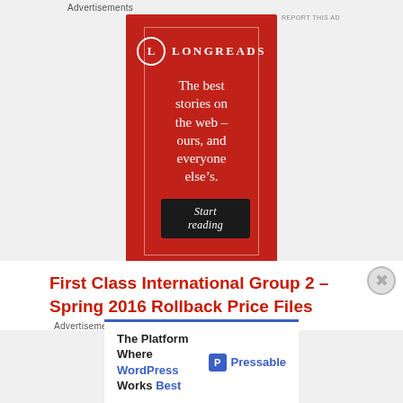Advertisements
[Figure (illustration): Longreads advertisement on red background. Shows Longreads logo (circle with L) and name, decorative border, tagline 'The best stories on the web – ours, and everyone else's.' and a black 'Start reading' button.]
REPORT THIS AD
First Class International Group 2 – Spring 2016 Rollback Price Files
Advertisements
[Figure (illustration): Pressable advertisement. Blue top border. Text: 'The Platform Where WordPress Works Best' with Pressable logo on the right.]